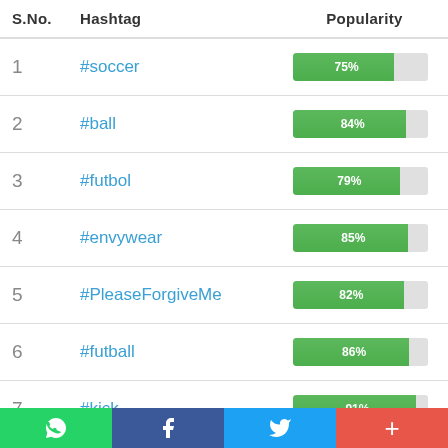| S.No. | Hashtag | Popularity |
| --- | --- | --- |
| 1 | #soccer | 75% |
| 2 | #ball | 84% |
| 3 | #futbol | 79% |
| 4 | #envywear | 85% |
| 5 | #PleaseForgiveMe | 82% |
| 6 | #futball | 86% |
| 7 | #kick | 91% |
[Figure (other): Social media share footer bar with WhatsApp, Facebook, Twitter, and more (+) buttons]